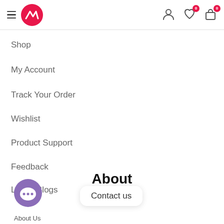Navigation header with hamburger menu, NV logo, user icon, wishlist (0), cart (0)
Shop
My Account
Track Your Order
Wishlist
Product Support
Feedback
Latest Blogs
About
Contact us
[Figure (illustration): Purple circular chat bubble icon with three dots]
About Us